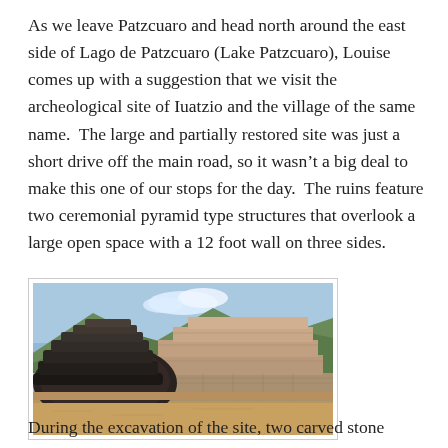As we leave Patzcuaro and head north around the east side of Lago de Patzcuaro (Lake Patzcuaro), Louise comes up with a suggestion that we visit the archeological site of Iuatzio and the village of the same name.  The large and partially restored site was just a short drive off the main road, so it wasn't a big deal to make this one of our stops for the day.  The ruins feature two ceremonial pyramid type structures that overlook a large open space with a 12 foot wall on three sides.
[Figure (photo): Photograph of a partially restored Mesoamerican pyramid structure (yácata) at the archeological site of Iuatzio, with dry ground in the foreground, a rounded dark volcanic stone staircase on the left, and the stepped stone platform on the right, with mountains and a blue sky in the background.]
During the excavation of the site, two carved stone